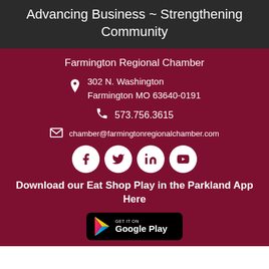Advancing Business ~ Strengthening Community
Farmington Regional Chamber
302 N. Washington Farmington MO 63640-0191
573.756.3615
chamber@farmingtonregionalchamber.com
[Figure (infographic): Social media icons: Facebook, Twitter, LinkedIn, YouTube]
Download our Eat Shop Play in the Parkland App Here
[Figure (logo): Google Play Store download badge]